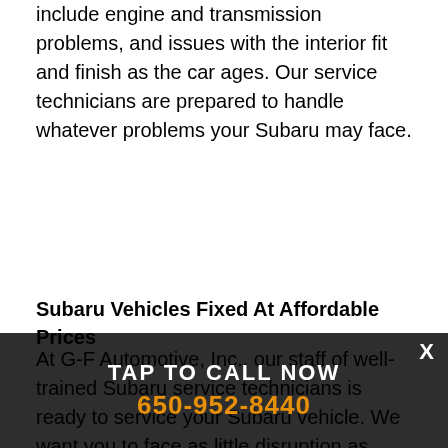include engine and transmission problems, and issues with the interior fit and finish as the car ages. Our service technicians are prepared to handle whatever problems your Subaru may face.
Subaru Vehicles Fixed At Affordable Prices
At G-F Automotive, Inc., our staff of well-trained Subaru service technicians is ready to service your Subaru vehicle. We want you to face as little disruption as possible when you bring your Subaru vehicle to us — we understand the hardships you face when you're putting your vehicle. will do all we can to get you and your car back on the road quickly. G-F Automotive, Inc. prides itself on offering affordable and efficient repairs that are of high
TAP TO CALL NOW
650-952-8440